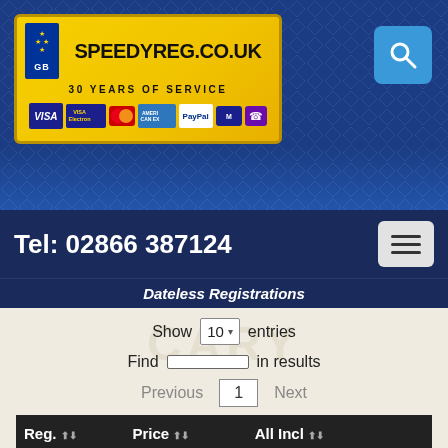[Figure (screenshot): SpeedyReg.co.uk website header with logo showing '30 Years of Service', GB/EU flag, payment method icons (Visa, Visa Electron, Mastercard, Amex, PayPal, Maestro, Solo), and a search button]
Tel: 02866 387124
Dateless Registrations
Show 10 entries
Find in results
Previous 1 Next
| Reg. | Price | All Incl |  |
| --- | --- | --- | --- |
| JOH 11 | £50,450.00 | £60,636.00 | More |